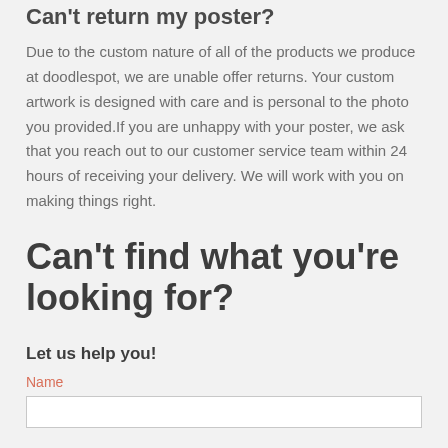Can't return my poster?
Due to the custom nature of all of the products we produce at doodlespot, we are unable offer returns. Your custom artwork is designed with care and is personal to the photo you provided.If you are unhappy with your poster, we ask that you reach out to our customer service team within 24 hours of receiving your delivery. We will work with you on making things right.
Can't find what you're looking for?
Let us help you!
Name